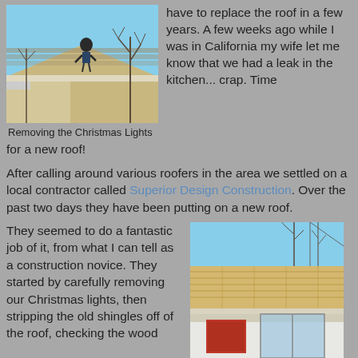[Figure (photo): Person on rooftop removing Christmas lights, shot from below showing roofline and bare winter trees against blue sky]
Removing the Christmas Lights
have to replace the roof in a few years. A few weeks ago while I was in California my wife let me know that we had a leak in the kitchen... crap.  Time for a new roof!
After calling around various roofers in the area we settled on a local contractor called Superior Design Construction.  Over the past two days they have been putting on a new roof.
They seemed to do a fantastic job of it, from what I can tell as a construction novice.  They started by carefully removing our Christmas lights, then stripping the old shingles off of the roof, checking the wood
[Figure (photo): House rooftop with bare wood decking exposed after shingles removed, blue sky and bare trees in background, house with white siding and red door visible]
Naked Roof